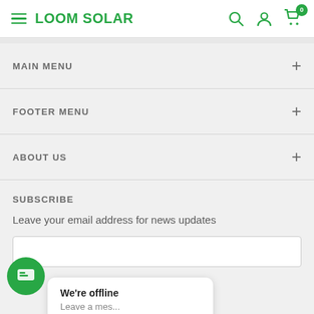LOOM SOLAR
MAIN MENU
FOOTER MENU
ABOUT US
SUBSCRIBE
Leave your email address for news updates
We're offline
Leave a mes...